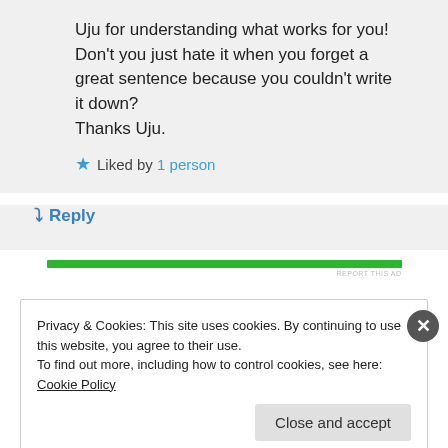Uju for understanding what works for you! Don't you just hate it when you forget a great sentence because you couldn't write it down? Thanks Uju.
Liked by 1 person
Reply
[Figure (other): Green horizontal ad bar with 'REPORT THIS AD' text]
Privacy & Cookies: This site uses cookies. By continuing to use this website, you agree to their use. To find out more, including how to control cookies, see here: Cookie Policy
Close and accept
[Figure (other): Bottom ad bar with red, black, and orange segments and 'REPORT THIS AD' text]